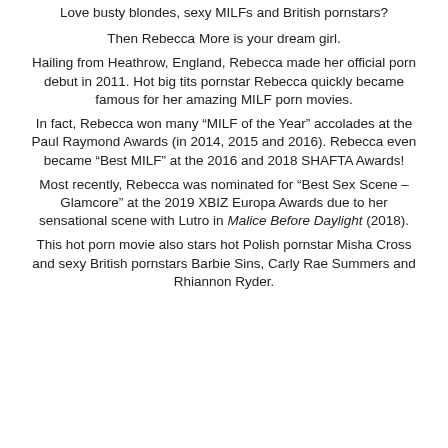Love busty blondes, sexy MILFs and British pornstars?
Then Rebecca More is your dream girl.
Hailing from Heathrow, England, Rebecca made her official porn debut in 2011. Hot big tits pornstar Rebecca quickly became famous for her amazing MILF porn movies.
In fact, Rebecca won many “MILF of the Year” accolades at the Paul Raymond Awards (in 2014, 2015 and 2016). Rebecca even became “Best MILF” at the 2016 and 2018 SHAFTA Awards!
Most recently, Rebecca was nominated for “Best Sex Scene – Glamcore” at the 2019 XBIZ Europa Awards due to her sensational scene with Lutro in Malice Before Daylight (2018).
This hot porn movie also stars hot Polish pornstar Misha Cross and sexy British pornstars Barbie Sins, Carly Rae Summers and Rhiannon Ryder.